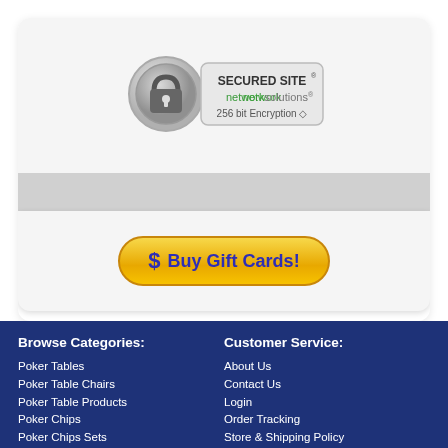[Figure (logo): Network Solutions Secured Site badge with padlock, 256 bit Encryption]
[Figure (other): Buy Gift Cards! button with dollar sign, gold gradient background]
Browse Categories:
Customer Service:
Poker Tables
Poker Table Chairs
Poker Table Products
Poker Chips
Poker Chips Sets
Poker Chip Cases
Playing Cards
Game Room Products
About Us
Contact Us
Login
Order Tracking
Store & Shipping Policy
Testimonials
Sitemap